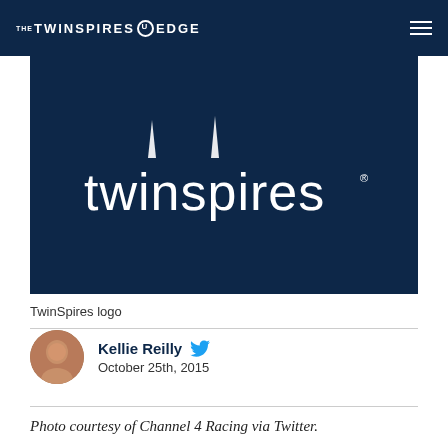THE TWINSPIRES EDGE
[Figure (logo): TwinSpires logo — white text 'twinspires' with two spire/tower shapes above the 'i' letters, on a dark navy blue background]
TwinSpires logo
Kellie Reilly  October 25th, 2015
Photo courtesy of Channel 4 Racing via Twitter.